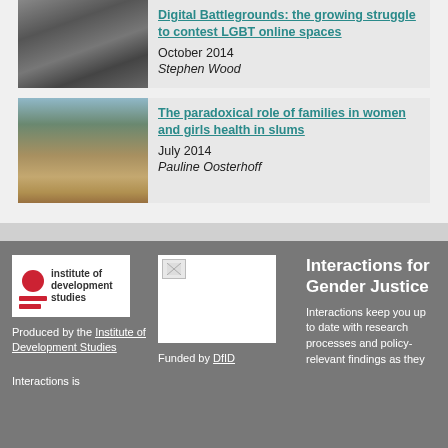[Figure (photo): Black and white photo of hands holding a phone or card]
Digital Battlegrounds: the growing struggle to contest LGBT online spaces
October 2014
Stephen Wood
[Figure (photo): Photo of urban slum area with makeshift buildings and dirt road]
The paradoxical role of families in women and girls health in slums
July 2014
Pauline Oosterhoff
[Figure (logo): Institute of Development Studies logo - red circle and lines with text]
Produced by the Institute of Development Studies
Interactions is
[Figure (photo): DFID logo - broken/missing image placeholder]
Funded by DfID
Interactions for Gender Justice
Interactions keep you up to date with research processes and policy-relevant findings as they